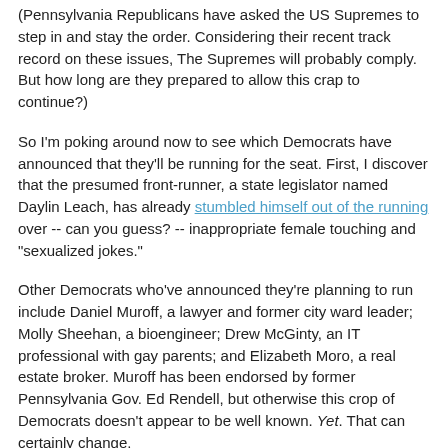(Pennsylvania Republicans have asked the US Supremes to step in and stay the order. Considering their recent track record on these issues, The Supremes will probably comply. But how long are they prepared to allow this crap to continue?)
So I'm poking around now to see which Democrats have announced that they'll be running for the seat. First, I discover that the presumed front-runner, a state legislator named Daylin Leach, has already stumbled himself out of the running over -- can you guess? -- inappropriate female touching and "sexualized jokes."
Other Democrats who've announced they're planning to run include Daniel Muroff, a lawyer and former city ward leader; Molly Sheehan, a bioengineer; Drew McGinty, an IT professional with gay parents; and Elizabeth Moro, a real estate broker. Muroff has been endorsed by former Pennsylvania Gov. Ed Rendell, but otherwise this crop of Democrats doesn't appear to be well known. Yet. That can certainly change.